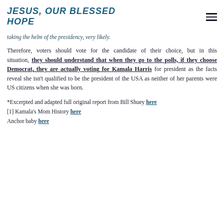JESUS, OUR BLESSED HOPE
taking the helm of the presidency, very likely.
Therefore, voters should vote for the candidate of their choice, but in this situation, they should understand that when they go to the polls, if they choose Democrat, they are actually voting for Kamala Harris for president as the facts reveal she isn't qualified to be the president of the USA as neither of her parents were US citizens when she was born.
*Excerpted and adapted full original report from Bill Shuey here
[1] Kamala's Mom History here
Anchor baby here